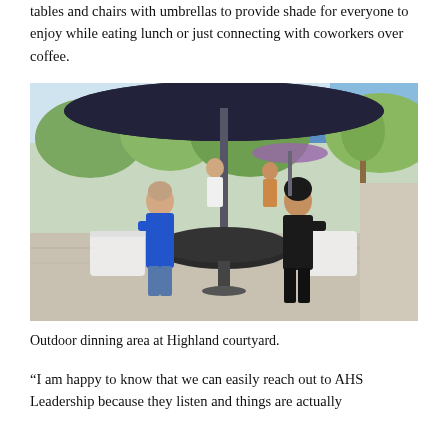tables and chairs with umbrellas to provide shade for everyone to enjoy while eating lunch or just connecting with coworkers over coffee.
[Figure (photo): Two people sitting at a round outdoor table under a large dark umbrella in a courtyard. One person is wearing blue scrubs, the other is wearing a black outfit. Other people and tables with umbrellas are visible in the background, with trees and a building.]
Outdoor dinning area at Highland courtyard.
“I am happy to know that we can easily reach out to AHS Leadership because they listen and things are actually